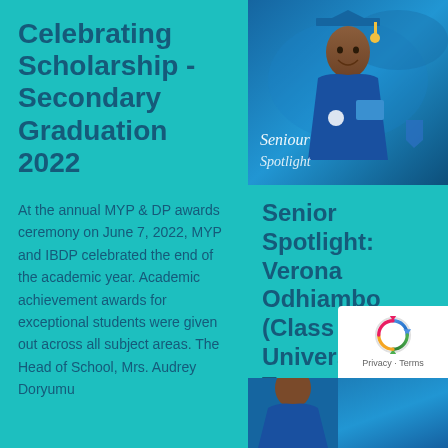Celebrating Scholarship - Secondary Graduation 2022
At the annual MYP & DP awards ceremony on June 7, 2022, MYP and IBDP celebrated the end of the academic year. Academic achievement awards for exceptional students were given out across all subject areas. The Head of School, Mrs. Audrey Doryumu
[Figure (photo): Graduation photo of a student in blue cap and gown holding a diploma, with 'Senior Spotlight' text overlay in script font]
Senior Spotlight: Verona Odhiambo (Class of 2022) University of Toronto (Lester B. Pearson Scholar, 20…
[Figure (photo): Bottom portion of another graduation photo partially visible]
[Figure (other): reCAPTCHA widget overlay with Privacy and Terms links]